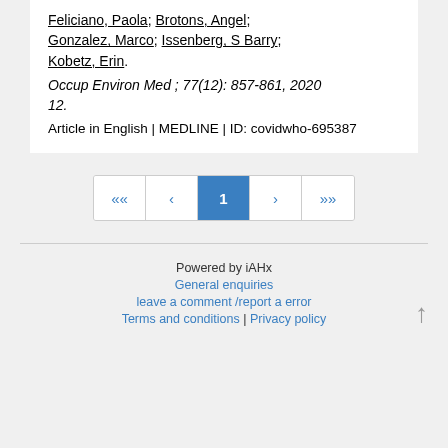Feliciano, Paola; Brotons, Angel; Gonzalez, Marco; Issenberg, S Barry; Kobetz, Erin. Occup Environ Med ; 77(12): 857-861, 2020 12. Article in English | MEDLINE | ID: covidwho-695387
Pagination: << < 1 > >>
Powered by iAHx | General enquiries | leave a comment /report a error | Terms and conditions | Privacy policy